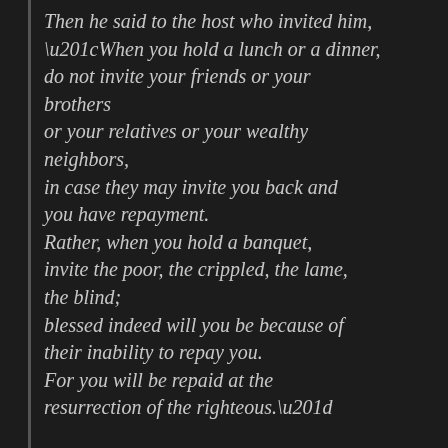Then he said to the host who invited him, “When you hold a lunch or a dinner, do not invite your friends or your brothers or your relatives or your wealthy neighbors, in case they may invite you back and you have repayment. Rather, when you hold a banquet, invite the poor, the crippled, the lame, the blind; blessed indeed will you be because of their inability to repay you. For you will be repaid at the resurrection of the righteous.”